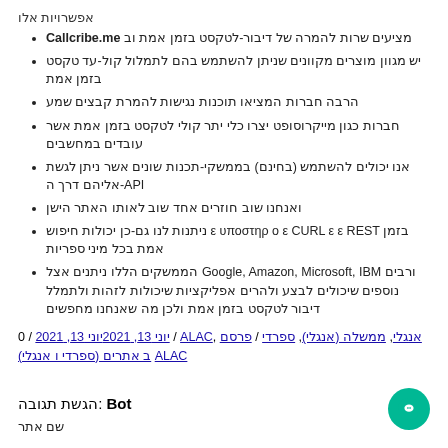אפשרויות אלו
Callcribe.me מציעים שרות להמרה של דיבור-לטקסט בזמן אמת וב
יש מגוון מוצרים מקוונים שניתן להשתמש בהם לתמלול קול-עד טקסט בזמן אמת
הרבה חברות המציאו תוכנות נגישות להמרת קבצים שמע
חברות כגון מייקרוסופט יצרו כלי יתר קולי לטקסט בזמן אמת אשר עובדים במחשבים
אנו יכולים להשתמש (בחינם) בממשקי-תכנות שונים אשר ניתן לגשת אליהם דרך ה-API
ואנחנו שוב חוזרים אחד שוב לאותו האתר הישן
ניתנות לנו גם-כן יכולות חיפוש ε υποστηρ ο ε CURL ε ε REST בזמן אמת בכל מיני ספריות
הממשקים הללו ניתנים אצל Google, Amazon, Microsoft, IBM ורבים נוספים שיכולים לבצע ולהרים אפליקציות שיכולות לזהות ולתמלל דיבור לטקסט בזמן אמת ולכן מה שאנחנו מחפשים
יוני 13, 2021יוני 13, 2021 / 0 / ALAC, אנגלי, ממשלה (אנגלי), ספרדי / פרסם ב אתרים (ספרדי ו אנגלי) ALAC
הגשת תגובה: Bot
שם אתר